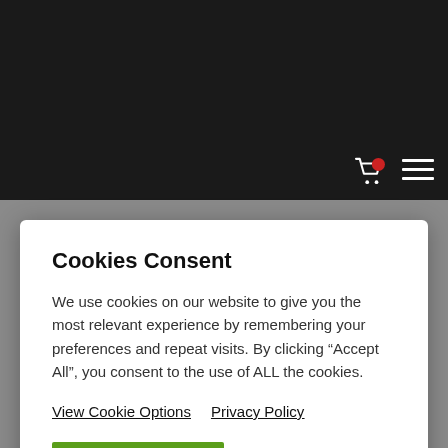[Figure (screenshot): Dark navigation bar with shopping cart icon (with red badge) and hamburger menu icon in the top right]
Cookies Consent
We use cookies on our website to give you the most relevant experience by remembering your preferences and repeat visits. By clicking “Accept All”, you consent to the use of ALL the cookies.
View Cookie Options   Privacy Policy
ACCEPT ALL
Leaders in Garment Decoration Equipment
WATCH THE VIDEOS TO LEARN MORE !!
RIP’s, workflow, digitising & more.